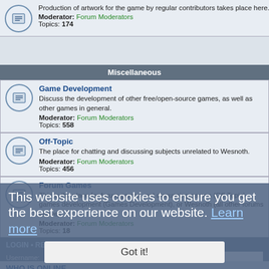Production of artwork for the game by regular contributors takes place here. Moderator: Forum Moderators Topics: 174
Miscellaneous
Game Development - Discuss the development of other free/open-source games, as well as other games in general. Moderator: Forum Moderators Topics: 558
Off-Topic - The place for chatting and discussing subjects unrelated to Wesnoth. Moderator: Forum Moderators Topics: 456
Forum Games - This is the place for forum games, not discussing games (Off-Topic), games development (Games Development), or Wesnoth (all other forums above). Moderator: Forum Moderators Topics: 18
This website uses cookies to ensure you get the best experience on our website. Learn more
Got it!
LOGIN • REGISTER
Username:
Password:
I forgot my password
Remember me
Login
WHO IS ONLINE